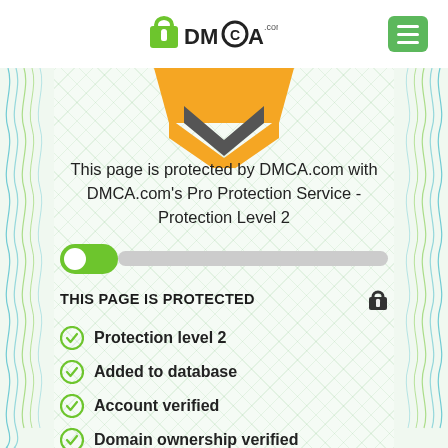[Figure (logo): DMCA.com logo with padlock icon]
[Figure (illustration): Orange and dark chevron/shield graphic partially visible at top of certificate]
This page is protected by DMCA.com with DMCA.com's Pro Protection Service - Protection Level 2
[Figure (other): Green toggle switch followed by a gray slider track]
THIS PAGE IS PROTECTED
Protection level 2
Added to database
Account verified
Domain ownership verified